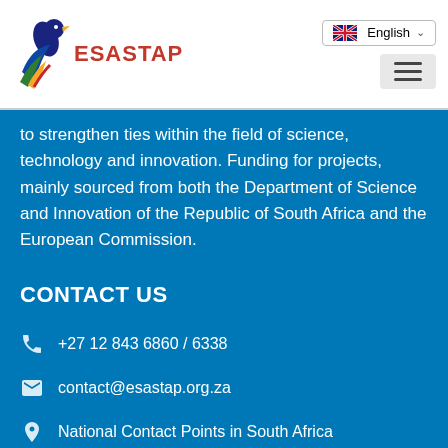[Figure (logo): ESASTAP logo with stylized bird and South African flag colors, with text ESASTAP in red]
English (language selector with UK flag)
to strengthen ties within the field of science, technology and innovation. Funding for projects, mainly sourced from both the Department of Science and Innovation of the Republic of South Africa and the European Commission.
CONTACT US
+27 12 843 6860 / 6338
contact@esastap.org.za
National Contact Points in South Africa
Search our site